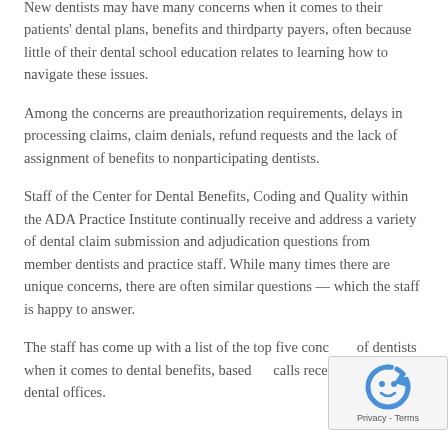New dentists may have many concerns when it comes to their patients' dental plans, benefits and thirdparty payers, often because little of their dental school education relates to learning how to navigate these issues.
Among the concerns are preauthorization requirements, delays in processing claims, claim denials, refund requests and the lack of assignment of benefits to nonparticipating dentists.
Staff of the Center for Dental Benefits, Coding and Quality within the ADA Practice Institute continually receive and address a variety of dental claim submission and adjudication questions from member dentists and practice staff. While many times there are unique concerns, there are often similar questions — which the staff is happy to answer.
The staff has come up with a list of the top five concerns of dentists when it comes to dental benefits, based on calls received from dental offices.